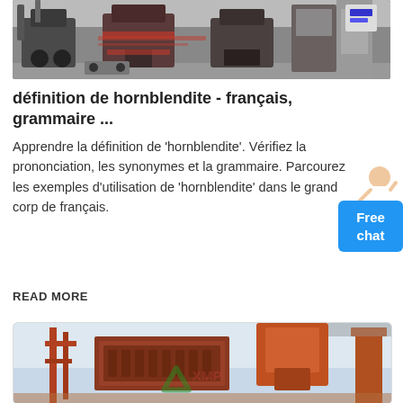[Figure (photo): Industrial machinery/crusher equipment inside a factory building, viewed from inside]
définition de hornblendite - français, grammaire ...
Apprendre la définition de 'hornblendite'. Vérifiez la prononciation, les synonymes et la grammaire. Parcourez les exemples d'utilisation de 'hornblendite' dans le grand corpus de français.
[Figure (photo): Free chat button with woman figure icon]
READ MORE
[Figure (photo): Industrial crushing/recycling machinery outdoors with orange/red equipment structures against a light sky, with a recycling logo watermark]